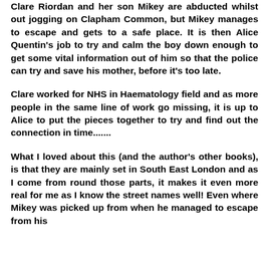Clare Riordan and her son Mikey are abducted whilst out jogging on Clapham Common, but Mikey manages to escape and gets to a safe place. It is then Alice Quentin's job to try and calm the boy down enough to get some vital information out of him so that the police can try and save his mother, before it's too late.
Clare worked for NHS in Haematology field and as more people in the same line of work go missing, it is up to Alice to put the pieces together to try and find out the connection in time.......
What I loved about this (and the author's other books), is that they are mainly set in South East London and as I come from round those parts, it makes it even more real for me as I know the street names well! Even where Mikey was picked up from when he managed to escape from his